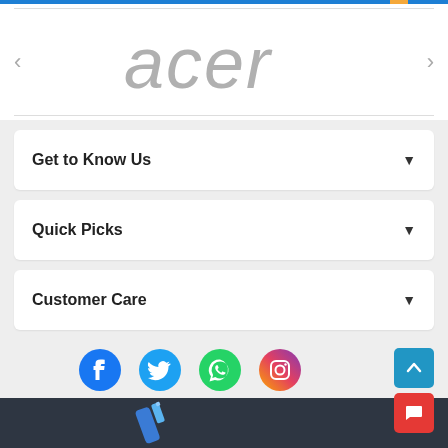[Figure (logo): Acer brand logo in grey italic text with navigation arrows on left and right]
Get to Know Us
Quick Picks
Customer Care
[Figure (infographic): Social media icons: Facebook, Twitter, WhatsApp, Instagram]
[Figure (infographic): Dark footer bar with scroll-to-top blue button and red chat button on right; product image partially visible at bottom]